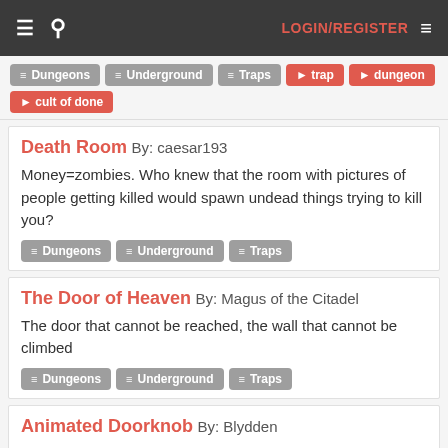☰ 🔍 LOGIN/REGISTER ≡
Dungeons | Underground | Traps | trap | dungeon | cult of done
Death Room By: caesar193
Money=zombies. Who knew that the room with pictures of people getting killed would spawn undead things trying to kill you?
Dungeons | Underground | Traps
The Door of Heaven By: Magus of the Citadel
The door that cannot be reached, the wall that cannot be climbed
Dungeons | Underground | Traps
Animated Doorknob By: Blydden